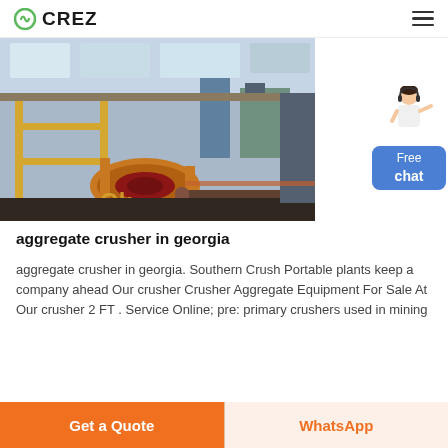CREZ
[Figure (photo): Industrial aggregate crusher machinery on a factory floor with yellow metal frames, conveyor belts, and overhead industrial structure]
[Figure (illustration): Customer service person mascot with headset next to a blue Free chat button]
aggregate crusher in georgia
aggregate crusher in georgia. Southern Crush Portable plants keep a company ahead Our crusher Crusher Aggregate Equipment For Sale At Our crusher 2 FT . Service Online; pre: primary crushers used in mining
Get a Quote | WhatsApp